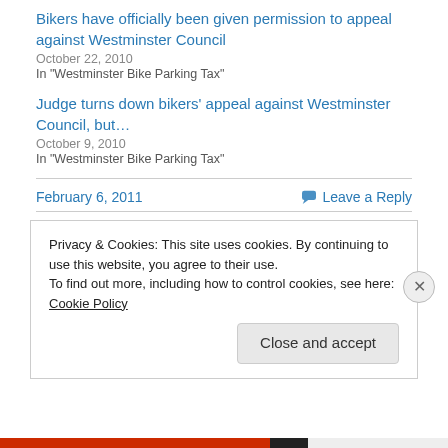Bikers have officially been given permission to appeal against Westminster Council
October 22, 2010
In "Westminster Bike Parking Tax"
Judge turns down bikers' appeal against Westminster Council, but…
October 9, 2010
In "Westminster Bike Parking Tax"
February 6, 2011
Leave a Reply
Privacy & Cookies: This site uses cookies. By continuing to use this website, you agree to their use.
To find out more, including how to control cookies, see here: Cookie Policy
Close and accept